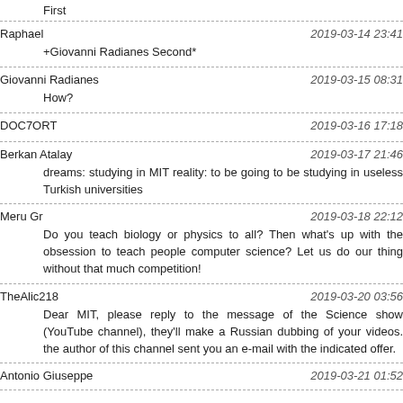First
Raphael    2019-03-14 23:41
+Giovanni Radianes Second*
Giovanni Radianes    2019-03-15 08:31
How?
DOC7ORT    2019-03-16 17:18
Berkan Atalay    2019-03-17 21:46
dreams: studying in MIT reality: to be going to be studying in useless Turkish universities
Meru Gr    2019-03-18 22:12
Do you teach biology or physics to all? Then what's up with the obsession to teach people computer science? Let us do our thing without that much competition!
TheAlic218    2019-03-20 03:56
Dear MIT, please reply to the message of the Science show (YouTube channel), they'll make a Russian dubbing of your videos. the author of this channel sent you an e-mail with the indicated offer.
Antonio Giuseppe    2019-03-21 01:52